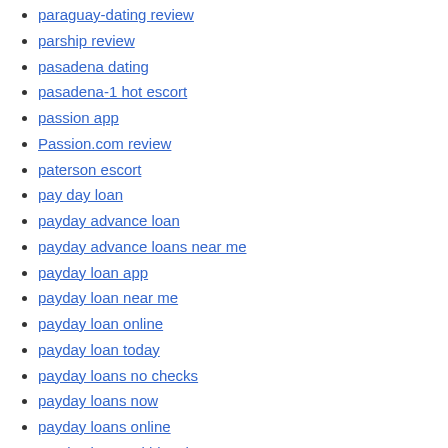paraguay-dating review
parship review
pasadena dating
pasadena-1 hot escort
passion app
Passion.com review
paterson escort
pay day loan
payday advance loan
payday advance loans near me
payday loan app
payday loan near me
payday loan online
payday loan today
payday loans no checks
payday loans now
payday loans online
payday loans within 1 hour
perfect match review
Pet dating site free
philadelphia USA review
philippines-dating review
phone trackers
phrendly come funziona
phrendly review